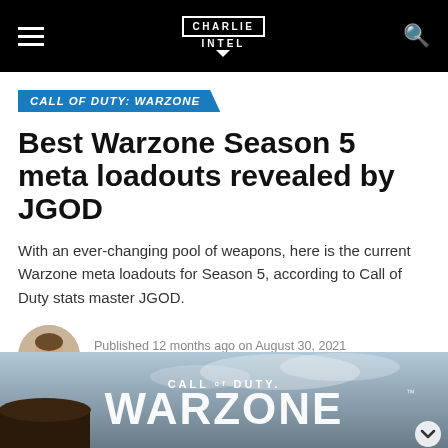Charlie Intel
CALL OF DUTY: WARZONE
Best Warzone Season 5 meta loadouts revealed by JGOD
With an ever-changing pool of weapons, here is the current Warzone meta loadouts for Season 5, according to Call of Duty stats master JGOD.
Published 12 months ago on August 30, 2021
By Zackerie Fairfax
[Figure (screenshot): Call of Duty Warzone game logo/title card with dramatic sky background]